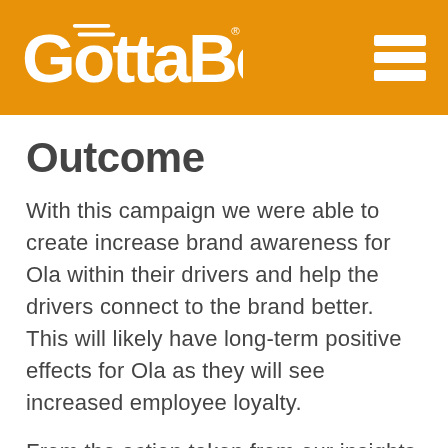[Figure (logo): GottaBe! logo in white on orange background, with hamburger menu icon on the right]
Outcome
With this campaign we were able to create increase brand awareness for Ola within their drivers and help the drivers connect to the brand better. This will likely have long-term positive effects for Ola as they will see increased employee loyalty.
From the action taken from our insights Ola have also seen an increase in driver